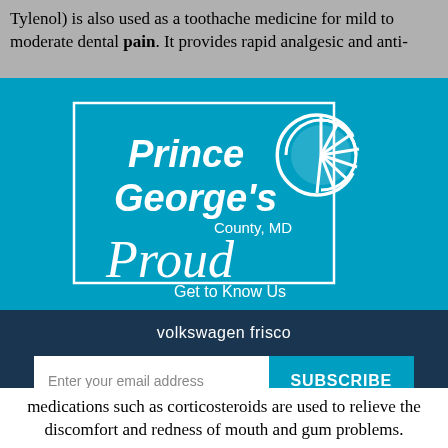Tylenol) is also used as a toothache medicine for mild to moderate dental pain. It provides rapid analgesic and anti-
[Figure (logo): Prince George's County, MD Proud - Get to Know Us logo with sun graphic on cyan/teal background]
volkswagen frisco
Enter your email address  SUBSCRIBE  No Thanks  Remind Me Later
medications such as corticosteroids are used to relieve the discomfort and redness of mouth and gum problems.